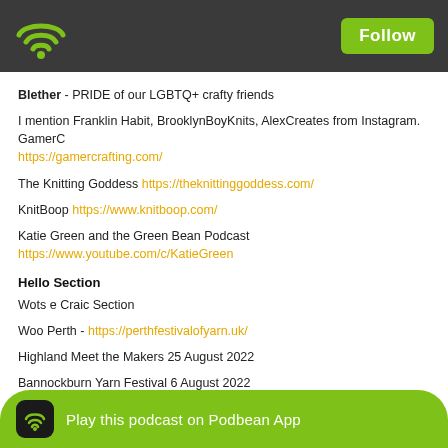Follow
Blether - PRIDE of our LGBTQ+ crafty friends
I mention Franklin Habit, BrooklynBoyKnits, AlexCreates from Instagram. GamerCrafting https://gamercrafting.com/
The Knitting Goddess https://theknittinggoddess.com/
KnitBoop https://www.knitboop.com/
Katie Green and the Green Bean Podcast https://www.youtube.com/c/KatieGreen
Hello Section
Wots e Craic Section
Woo Perth - https://perthfestivalofyarn.uk/
Highland Meet the Makers 25 August 2022
Bannockburn Yarn Festival 6 August 2022
Glasgow School of Yarn - https://www.glasgowschoolofyarn.co.uk/
Bird Merlin App
Moth & Butterflies/identify
Last episode I mentioned Terry Pratchett's disc Worlds and go along with H
[Figure (other): Podbean App play button overlay bar at bottom]